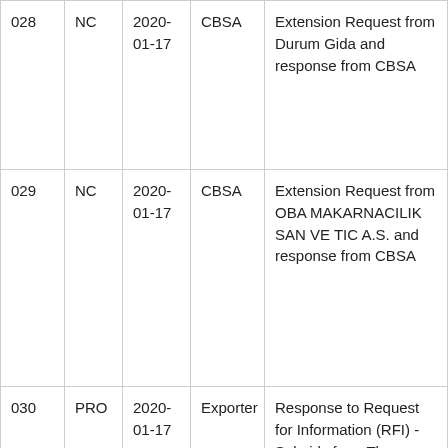| 028 | NC | 2020-01-17 | CBSA | Extension Request from Durum Gida and response from CBSA |
| 029 | NC | 2020-01-17 | CBSA | Extension Request from OBA MAKARNACILIK SAN VE TIC A.S. and response from CBSA |
| 030 | PRO | 2020-01-17 | Exporter | Response to Request for Information (RFI) - Subsidy from The... |